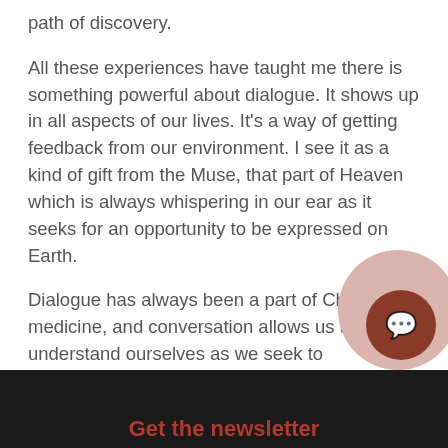path of discovery.
All these experiences have taught me there is something powerful about dialogue. It shows up in all aspects of our lives. It's a way of getting feedback from our environment. I see it as a kind of gift from the Muse, that part of Heaven which is always whispering in our ear as it seeks for an opportunity to be expressed on Earth.
Dialogue has always been a part of Chinese medicine, and conversation allows us to better understand ourselves as we seek to understand others.
Get the newsletter